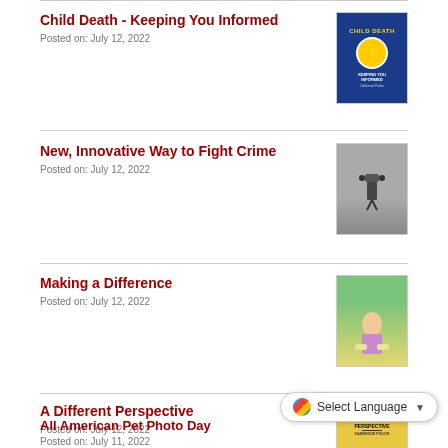Child Death - Keeping You Informed
Posted on: July 12, 2022
[Figure (photo): Child Death - Keeping You Informed publication cover with police badge on blue background]
New, Innovative Way to Fight Crime
Posted on: July 12, 2022
[Figure (photo): Drone or robot device used in crime fighting]
Making a Difference
Posted on: July 12, 2022
[Figure (photo): Young girl at table with food items outdoors]
A Different Perspective
Posted on: July 12, 2022
[Figure (photo): A Different Perspective publication cover with police officers on yellow background]
All American Pet Photo Day
Posted on: July 11, 2022